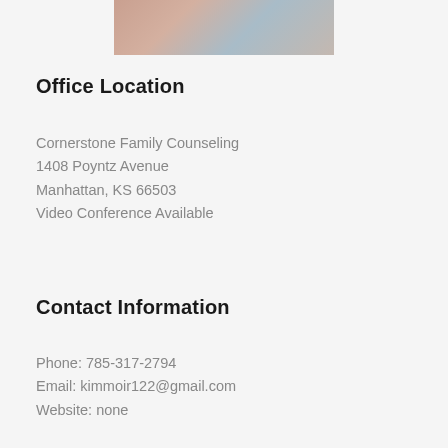[Figure (photo): Partial photo of persons, cropped at top of page]
Office Location
Cornerstone Family Counseling
1408 Poyntz Avenue
Manhattan, KS 66503
Video Conference Available
Contact Information
Phone: 785-317-2794
Email: kimmoir122@gmail.com
Website: none